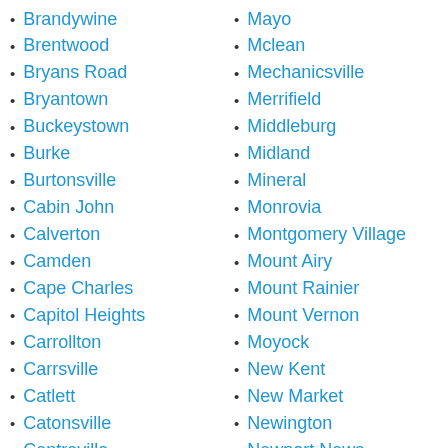Brandywine
Brentwood
Bryans Road
Bryantown
Buckeystown
Burke
Burtonsville
Cabin John
Calverton
Camden
Cape Charles
Capitol Heights
Carrollton
Carrsville
Catlett
Catonsville
Centreville
Chantilly
Charlotte Hall
Mayo
Mclean
Mechanicsville
Merrifield
Middleburg
Midland
Mineral
Monrovia
Montgomery Village
Mount Airy
Mount Rainier
Mount Vernon
Moyock
New Kent
New Market
Newington
Newport News
Nokesville
Norfolk